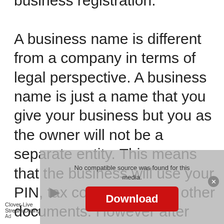business registration. A business name is different from a company in terms of legal perspective. A business name is just a name that you give your business but you as the owner will not be a separate entity. This means that the business will use your PIN, tax compliance and other documents. However after registering your business you will obtain a business certificate that you can use to open a bank
[Figure (screenshot): Ad overlay showing 'No compatible source was found for this media.' message with a Download button in red and an ad for Clover-Live Stream Dating app at the bottom.]